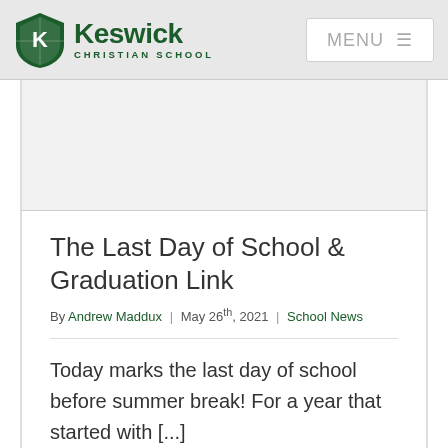[Figure (logo): Keswick Christian School logo with shield emblem and school name]
The Last Day of School & Graduation Link
By Andrew Maddux | May 26th, 2021 | School News
Today marks the last day of school before summer break! For a year that started with [...]